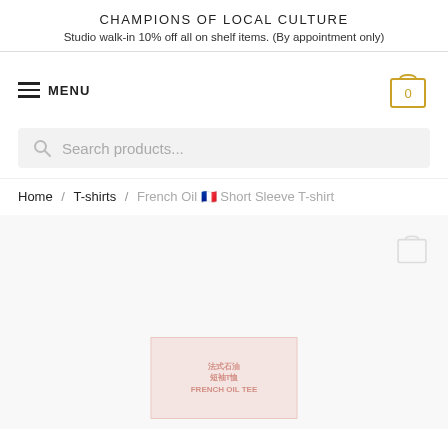CHAMPIONS OF LOCAL CULTURE
Studio walk-in 10% off all on shelf items. (By appointment only)
MENU
Search products...
Home / T-shirts / French Oil 🇫🇷 Short Sleeve T-shirt
[Figure (other): Product image area showing a faded/loading product image with Chinese/Japanese text watermark in red-orange tones on a light gray background]